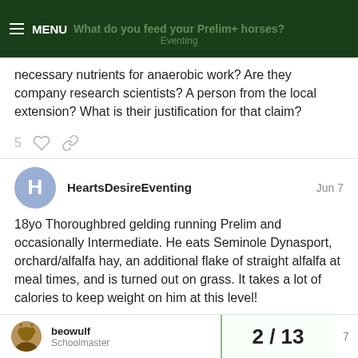MENU | What do you feed your Prelim+ horses? | Eventing
necessary nutrients for anaerobic work? Are they company research scientists? A person from the local extension? What is their justification for that claim?
5 likes, link actions
HeartsDesireEventing  Jun 7
18yo Thoroughbred gelding running Prelim and occasionally Intermediate. He eats Seminole Dynasport, orchard/alfalfa hay, an additional flake of straight alfalfa at meal times, and is turned out on grass. It takes a lot of calories to keep weight on him at this level!
1 like, link actions
beowulf Schoolmaster  2 / 13  7